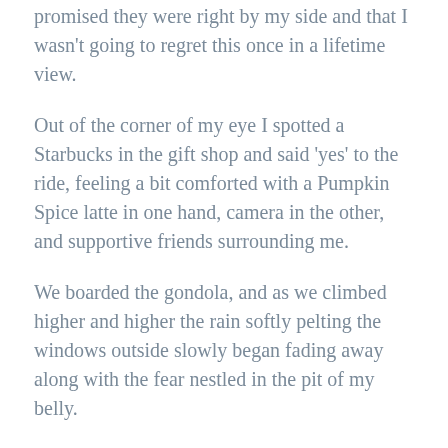promised they were right by my side and that I wasn't going to regret this once in a lifetime view.
Out of the corner of my eye I spotted a Starbucks in the gift shop and said ‘yes’ to the ride, feeling a bit comforted with a Pumpkin Spice latte in one hand, camera in the other, and supportive friends surrounding me.
We boarded the gondola, and as we climbed higher and higher the rain softly pelting the windows outside slowly began fading away along with the fear nestled in the pit of my belly.
When we reached the top of the mountain the rain and my fear were gone as I was greeted with this once in a lifetime view: